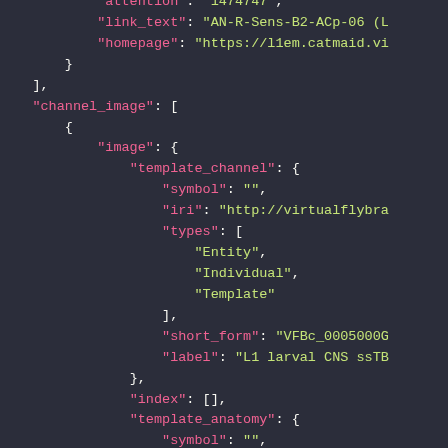[Figure (screenshot): A JSON code snippet displayed in a dark-themed code editor or terminal. Shows nested JSON structure with keys like link_text, homepage, channel_image, image, template_channel, symbol, iri, types, short_form, label, index, template_anatomy, symbol. Keys are in pink/magenta, string values in yellow-green.]